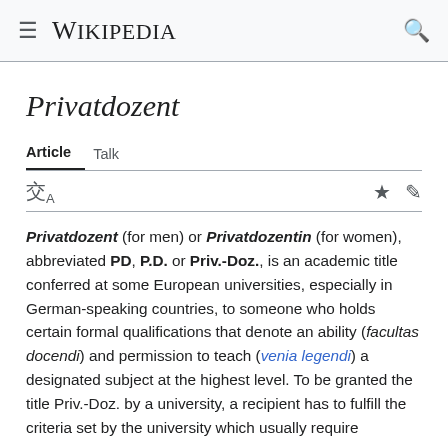Wikipedia
Privatdozent
Article   Talk
Privatdozent (for men) or Privatdozentin (for women), abbreviated PD, P.D. or Priv.-Doz., is an academic title conferred at some European universities, especially in German-speaking countries, to someone who holds certain formal qualifications that denote an ability (facultas docendi) and permission to teach (venia legendi) a designated subject at the highest level. To be granted the title Priv.-Doz. by a university, a recipient has to fulfill the criteria set by the university which usually require